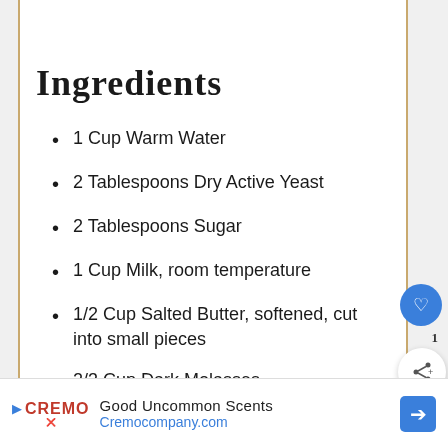SAVE
Ingredients
1 Cup Warm Water
2 Tablespoons Dry Active Yeast
2 Tablespoons Sugar
1 Cup Milk, room temperature
1/2 Cup Salted Butter, softened, cut into small pieces
2/3 Cup Dark Molasses
1/4 Cup Cocoa Powder
Good Uncommon Scents Cremocompany.com